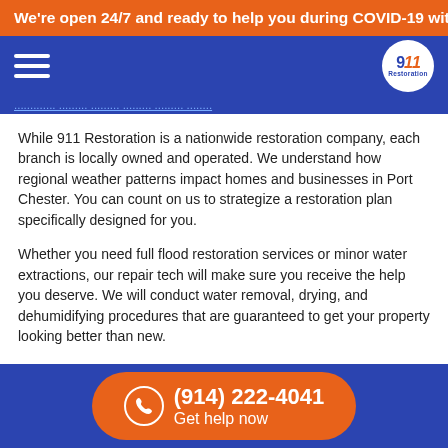We're open 24/7 and ready to help you during COVID-19 with
[Figure (logo): 911 Restoration logo in white circle on blue navigation bar with hamburger menu icon]
While 911 Restoration is a nationwide restoration company, each branch is locally owned and operated. We understand how regional weather patterns impact homes and businesses in Port Chester. You can count on us to strategize a restoration plan specifically designed for you.
Whether you need full flood restoration services or minor water extractions, our repair tech will make sure you receive the help you deserve. We will conduct water removal, drying, and dehumidifying procedures that are guaranteed to get your property looking better than new.
Call the team that knows exactly what you need to conquer any water disaster. 911 Restoration of Westchester is ready to provide
(914) 222-4041 Get help now